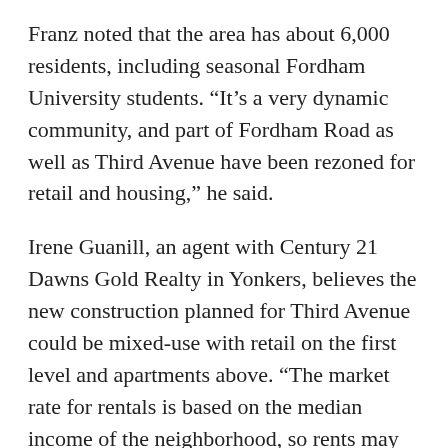Franz noted that the area has about 6,000 residents, including seasonal Fordham University students. “It’s a very dynamic community, and part of Fordham Road as well as Third Avenue have been rezoned for retail and housing,” he said.
Irene Guanill, an agent with Century 21 Dawns Gold Realty in Yonkers, believes the new construction planned for Third Avenue could be mixed-use with retail on the first level and apartments above. “The market rate for rentals is based on the median income of the neighborhood, so rents may go for about $1,800 to $2,000 for a one-bedroom,” she said.
Home sales in the area are infrequent, she added, since so many people have been living in the area for such a long time. “It’s rare when things come